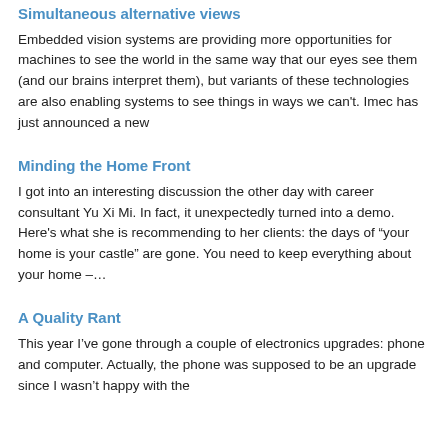Simultaneous alternative views
Embedded vision systems are providing more opportunities for machines to see the world in the same way that our eyes see them (and our brains interpret them), but variants of these technologies are also enabling systems to see things in ways we can't. Imec has just announced a new
Minding the Home Front
I got into an interesting discussion the other day with career consultant Yu Xi Mi. In fact, it unexpectedly turned into a demo. Here's what she is recommending to her clients: the days of “your home is your castle” are gone. You need to keep everything about your home –…
A Quality Rant
This year I’ve gone through a couple of electronics upgrades: phone and computer. Actually, the phone was supposed to be an upgrade since I wasn’t happy with the